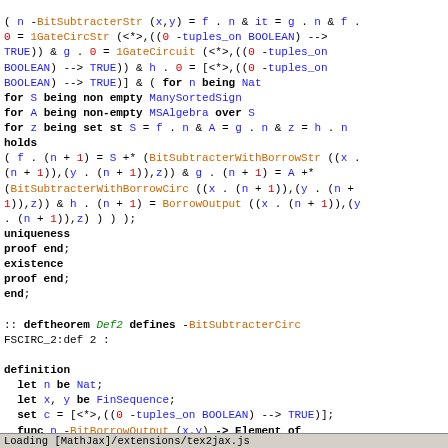( n -BitSubtracterStr (x,y) = f . n & it = g . n & f . 0 = 1GateCircStr (<*>,((0 -tuples_on BOOLEAN) --> TRUE)) & g . 0 = 1GateCircuit (<*>,((0 -tuples_on BOOLEAN) --> TRUE)) & h . 0 = [<*>,((0 -tuples_on BOOLEAN) --> TRUE)] & ( for n being Nat for S being non empty ManySortedSign for A being non-empty MSAlgebra over S for z being set st S = f . n & A = g . n & z = h . n holds ( f . (n + 1) = S +* (BitSubtracterWithBorrowStr ((x . (n + 1)),(y . (n + 1)),z)) & g . (n + 1) = A +* (BitSubtracterWithBorrowCirc ((x . (n + 1)),(y . (n + 1)),z)) & h . (n + 1) = BorrowOutput ((x . (n + 1)),(y . (n + 1)),z) ) ) ); uniqueness proof end; existence proof end; end;
:: deftheorem Def2 defines -BitSubtracterCirc FSCIRC_2:def 2 :
definition let n be Nat; let x, y be FinSequence; set c = [<*>,((0 -tuples_on BOOLEAN) --> TRUE)]; func n -BitBorrowOutput (x,y) -> Element of InnerVertices (n -BitSubtracterStr (x,y)) means :Def3:
Loading [MathJax]/extensions/tex2jax.js